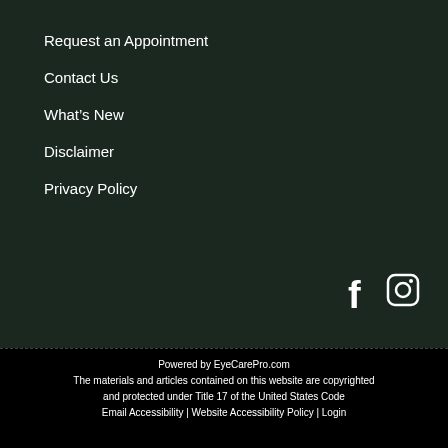Request an Appointment
Contact Us
What's New
Disclaimer
Privacy Policy
[Figure (illustration): Facebook and Instagram social media icons in white on dark background]
Powered by EyeCarePro.com
The materials and articles contained on this website are copyrighted and protected under Title 17 of the United States Code
Email Accessibility | Website Accessibility Policy | Login